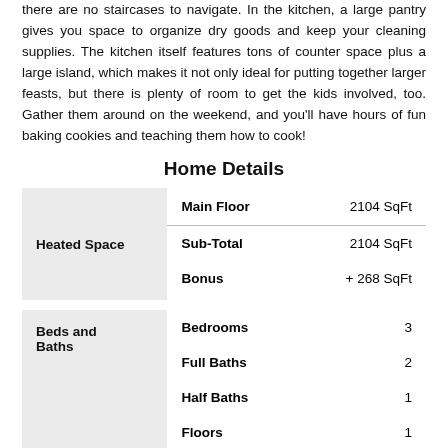there are no staircases to navigate. In the kitchen, a large pantry gives you space to organize dry goods and keep your cleaning supplies. The kitchen itself features tons of counter space plus a large island, which makes it not only ideal for putting together larger feasts, but there is plenty of room to get the kids involved, too. Gather them around on the weekend, and you'll have hours of fun baking cookies and teaching them how to cook!
Home Details
|  | Detail | Value |
| --- | --- | --- |
| Heated Space | Main Floor | 2104 SqFt |
|  | Sub-Total | 2104 SqFt |
|  | Bonus | + 268 SqFt |
| Beds and Baths | Bedrooms | 3 |
|  | Full Baths | 2 |
|  | Half Baths | 1 |
|  | Floors | 1 |